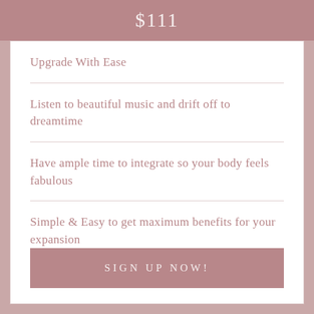$111
Upgrade With Ease
Listen to beautiful music and drift off to dreamtime
Have ample time to integrate so your body feels fabulous
Simple & Easy to get maximum benefits for your expansion
SIGN UP NOW!